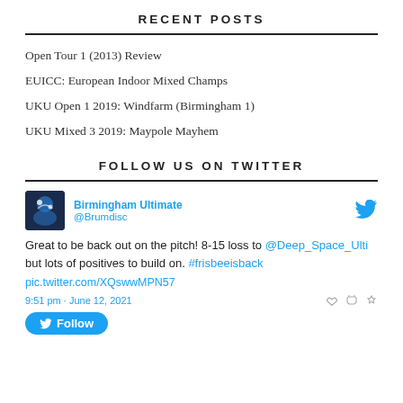RECENT POSTS
Open Tour 1 (2013) Review
EUICC: European Indoor Mixed Champs
UKU Open 1 2019: Windfarm (Birmingham 1)
UKU Mixed 3 2019: Maypole Mayhem
FOLLOW US ON TWITTER
Birmingham Ultimate @Brumdisc
Great to be back out on the pitch! 8-15 loss to @Deep_Space_Ulti but lots of positives to build on. #frisbeeisback pic.twitter.com/XQswwMPN57
9:51 pm · June 12, 2021